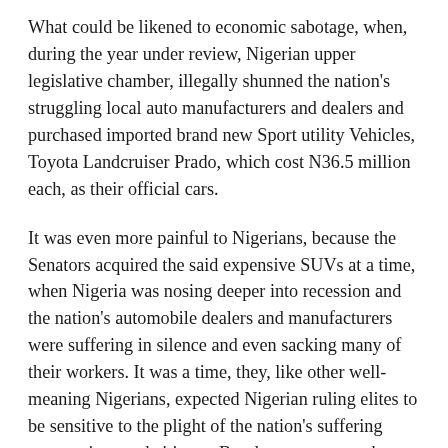What could be likened to economic sabotage, when, during the year under review, Nigerian upper legislative chamber, illegally shunned the nation's struggling local auto manufacturers and dealers and purchased imported brand new Sport utility Vehicles, Toyota Landcruiser Prado, which cost N36.5 million each, as their official cars.
It was even more painful to Nigerians, because the Senators acquired the said expensive SUVs at a time, when Nigeria was nosing deeper into recession and the nation's automobile dealers and manufacturers were suffering in silence and even sacking many of their workers. It was a time, they, like other well-meaning Nigerians, expected Nigerian ruling elites to be sensitive to the plight of the nation's suffering corporations and citizens. But the reverse was the case.